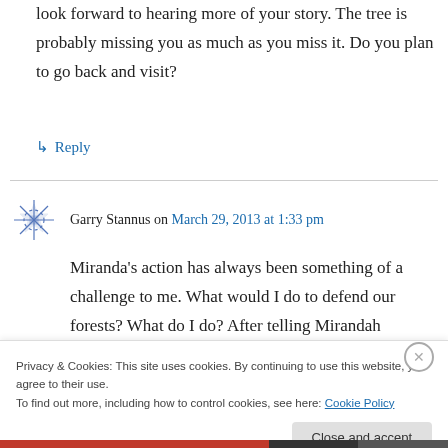look forward to hearing more of your story. The tree is probably missing you as much as you miss it. Do you plan to go back and visit?
↳ Reply
Garry Stannus on March 29, 2013 at 1:33 pm
Miranda's action has always been something of a challenge to me. What would I do to defend our forests? What do I do? After telling Mirandah
Privacy & Cookies: This site uses cookies. By continuing to use this website, you agree to their use.
To find out more, including how to control cookies, see here: Cookie Policy
Close and accept